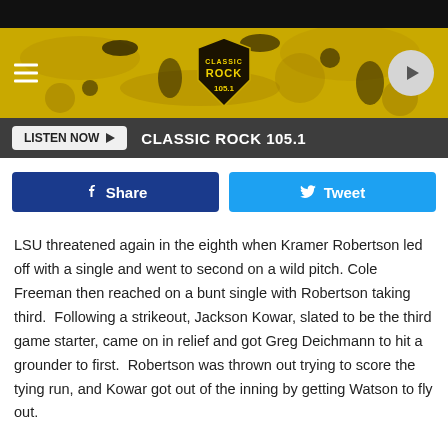[Figure (screenshot): Classic Rock 105.1 radio station website header with yellow/black splatter background, hamburger menu icon, Classic Rock 105.1 shield logo, and circular play button]
[Figure (infographic): Listen Now button bar with dark background showing 'LISTEN NOW' button and 'CLASSIC ROCK 105.1' station name]
[Figure (infographic): Social sharing buttons row: blue Facebook Share button and light blue Twitter Tweet button]
LSU threatened again in the eighth when Kramer Robertson led off with a single and went to second on a wild pitch. Cole Freeman then reached on a bunt single with Robertson taking third.  Following a strikeout, Jackson Kowar, slated to be the third game starter, came on in relief and got Greg Deichmann to hit a grounder to first.  Robertson was thrown out trying to score the tying run, and Kowar got out of the inning by getting Watson to fly out.